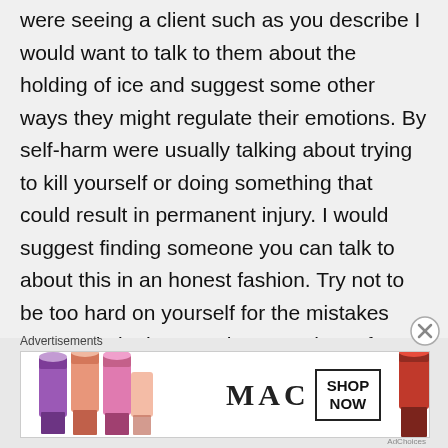were seeing a client such as you describe I would want to talk to them about the holding of ice and suggest some other ways they might regulate their emotions. By self-harm were usually talking about trying to kill yourself or doing something that could result in permanent injury. I would suggest finding someone you can talk to about this in an honest fashion. Try not to be too hard on yourself for the mistakes you made in the past, but try to learn from them and make every effort not to do those things again in the future. One way of
Advertisements
[Figure (photo): MAC cosmetics advertisement banner showing lipsticks in purple, peach, and pink on the left, MAC logo in the center, SHOP NOW button in a box, and a red lipstick on the right.]